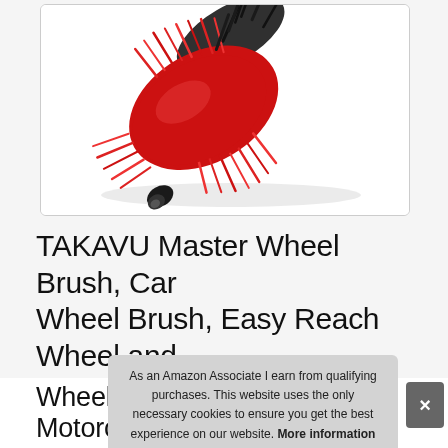[Figure (photo): A red and black wheel cleaning brush (TAKAVU Master Wheel Brush) photographed diagonally against a white background, showing fluffy red and black bristles with a black tip.]
TAKAVU Master Wheel Brush, Car Wheel Brush, Easy Reach Wheel and Rim Brush, Bristle Brush, Brake Dust Brush for Car Wheels Rims Exhaust Tips Motorcycles
As an Amazon Associate I earn from qualifying purchases. This website uses the only necessary cookies to ensure you get the best experience on our website. More information